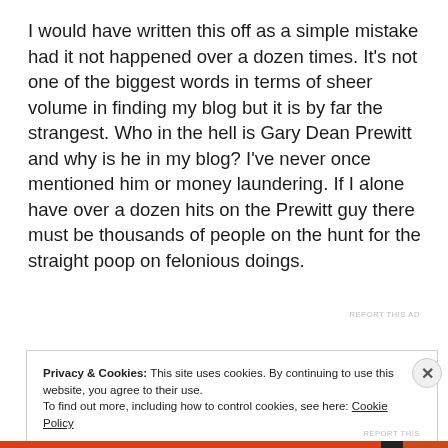I would have written this off as a simple mistake had it not happened over a dozen times. It's not one of the biggest words in terms of sheer volume in finding my blog but it is by far the strangest. Who in the hell is Gary Dean Prewitt and why is he in my blog? I've never once mentioned him or money laundering. If I alone have over a dozen hits on the Prewitt guy there must be thousands of people on the hunt for the straight poop on felonious doings.
Privacy & Cookies: This site uses cookies. By continuing to use this website, you agree to their use. To find out more, including how to control cookies, see here: Cookie Policy